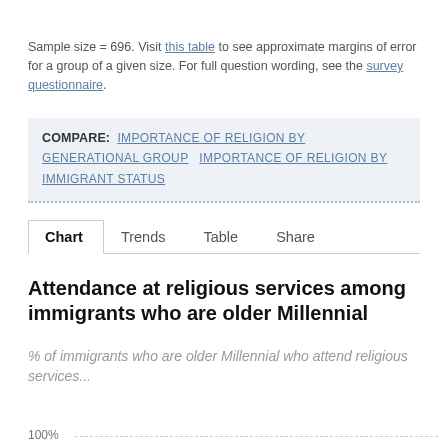Sample size = 696. Visit this table to see approximate margins of error for a group of a given size. For full question wording, see the survey questionnaire.
COMPARE: IMPORTANCE OF RELIGION BY GENERATIONAL GROUP  IMPORTANCE OF RELIGION BY IMMIGRANT STATUS
Chart  Trends  Table  Share
Attendance at religious services among immigrants who are older Millennial
% of immigrants who are older Millennial who attend religious services...
100%